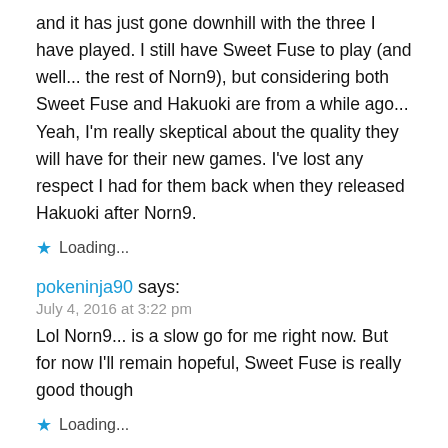and it has just gone downhill with the three I have played. I still have Sweet Fuse to play (and well... the rest of Norn9), but considering both Sweet Fuse and Hakuoki are from a while ago... Yeah, I'm really skeptical about the quality they will have for their new games. I've lost any respect I had for them back when they released Hakuoki after Norn9.
★ Loading...
pokeninja90 says:
July 4, 2016 at 3:22 pm
Lol Norn9... is a slow go for me right now. But for now I'll remain hopeful, Sweet Fuse is really good though
★ Loading...
Anny says: